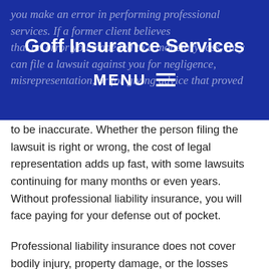Goff Insurance Services
MENU
you make an error in performing professional services. If a former client believes that an error you made led to a monetary loss, they can file a lawsuit against you for negligence, misrepresentation, or for giving advice that proved to be inaccurate. Whether the person filing the lawsuit is right or wrong, the cost of legal representation adds up fast, with some lawsuits continuing for many months or even years. Without professional liability insurance, you will face paying for your defense out of pocket.
Professional liability insurance does not cover bodily injury, property damage, or the losses associated with a cyber incursion. For these events, you need general liability insurance and cyber